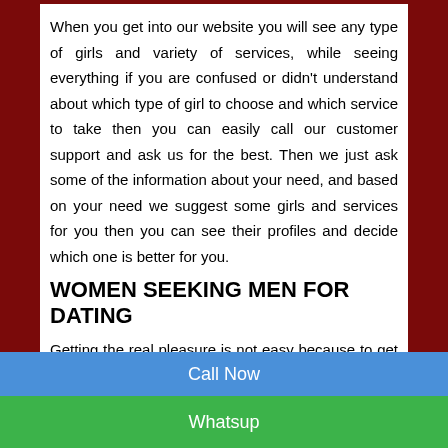When you get into our website you will see any type of girls and variety of services, while seeing everything if you are confused or didn't understand about which type of girl to choose and which service to take then you can easily call our customer support and ask us for the best. Then we just ask some of the information about your need, and based on your need we suggest some girls and services for you then you can see their profiles and decide which one is better for you.
WOMEN SEEKING MEN FOR DATING
Getting the real pleasure is not easy because to get that you need your mind to fix for it perfectly, you have to free yourself and you need to come out of your everyday work pressure and make your mind free of everything. Your girlfriend wants
Call Now
Whatsup